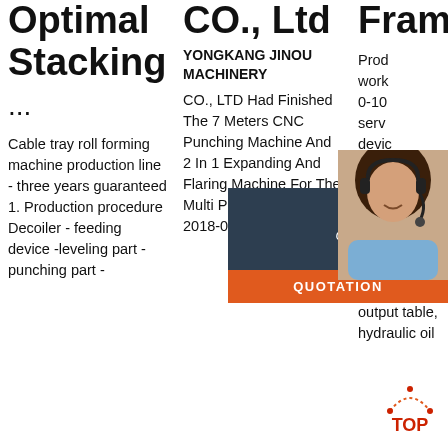Optimal Stacking
...
Cable tray roll forming machine production line - three years guaranteed 1. Production procedure Decoiler - feeding device -leveling part - punching part -
CO., Ltd
YONGKANG JINOU MACHINERY CO., LTD Had Finished The 7 Meters CNC Punching Machine And 2 In 1 Expanding And Flaring Machine For The Multi Purpose Ladders. 2018-07-19 + Read
Frame 2021
Prod work 0-10 serv devic mach dies, form mach machine part, hydraulic cutting unit, output table, hydraulic oil
[Figure (photo): Customer service representative with headset, chat widget overlay with '24/7 Online' header, 'Click here for free chat!' text, and orange QUOTATION button]
[Figure (other): Orange and red TOP button with dotted arc above it at bottom right of page]